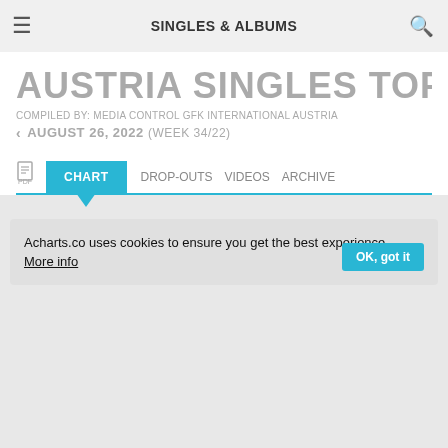SINGLES & ALBUMS
AUSTRIA SINGLES TOP 75
COMPILED BY: MEDIA CONTROL GFK INTERNATIONAL AUSTRIA
< AUGUST 26, 2022 (WEEK 34/22)
CHART  DROP-OUTS  VIDEOS  ARCHIVE
Acharts.co uses cookies to ensure you get the best experience. More info  OK, got it